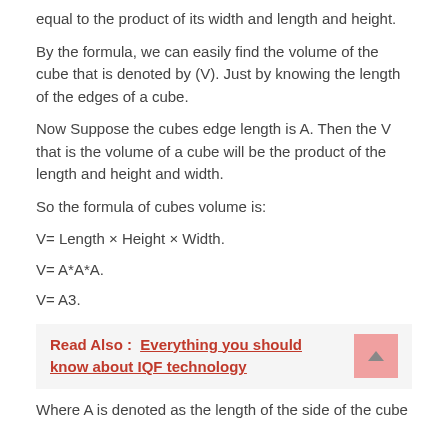equal to the product of its width and length and height.
By the formula, we can easily find the volume of the cube that is denoted by (V). Just by knowing the length of the edges of a cube.
Now Suppose the cubes edge length is A. Then the V that is the volume of a cube will be the product of the length and height and width.
So the formula of cubes volume is:
Read Also : Everything you should know about IQF technology
Where A is denoted as the length of the side of the cube